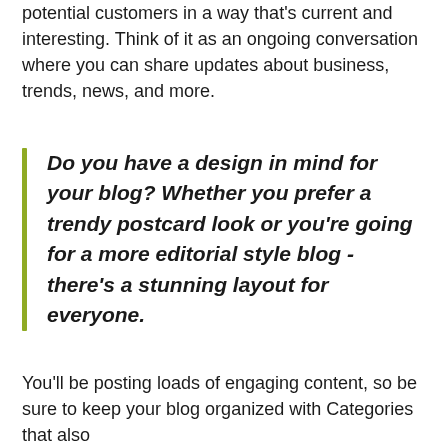potential customers in a way that's current and interesting. Think of it as an ongoing conversation where you can share updates about business, trends, news, and more.
Do you have a design in mind for your blog? Whether you prefer a trendy postcard look or you're going for a more editorial style blog - there's a stunning layout for everyone.
You'll be posting loads of engaging content, so be sure to keep your blog organized with Categories that also